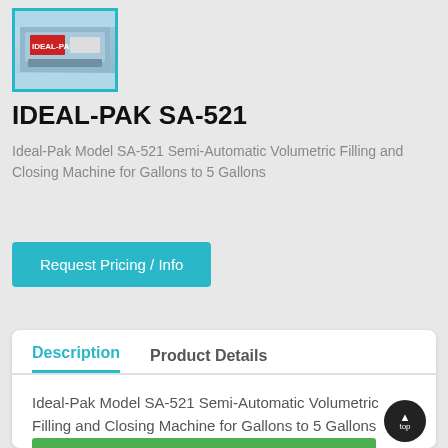[Figure (photo): Product thumbnail image of IDEAL-PAK SA-521 machine with teal border]
IDEAL-PAK SA-521
Ideal-Pak Model SA-521 Semi-Automatic Volumetric Filling and Closing Machine for Gallons to 5 Gallons
Request Pricing / Info
Description
Product Details
Ideal-Pak Model SA-521 Semi-Automatic Volumetric Filling and Closing Machine for Gallons to 5 Gallons